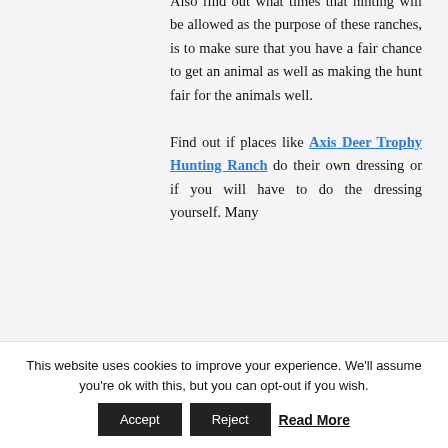Also find out what times that hinting will be allowed as the purpose of these ranches, is to make sure that you have a fair chance to get an animal as well as making the hunt fair for the animals well.

Find out if places like Axis Deer Trophy Hunting Ranch do their own dressing or if you will have to do the dressing yourself. Many
This website uses cookies to improve your experience. We'll assume you're ok with this, but you can opt-out if you wish.